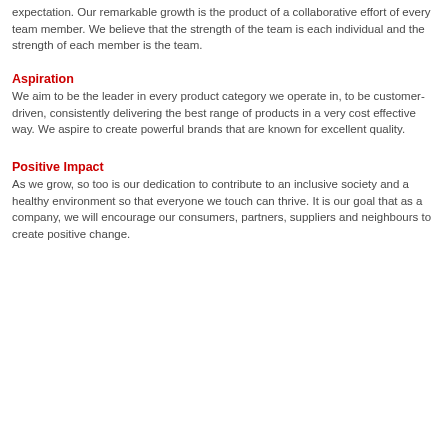expectation. Our remarkable growth is the product of a collaborative effort of every team member. We believe that the strength of the team is each individual and the strength of each member is the team.
Aspiration
We aim to be the leader in every product category we operate in, to be customer-driven, consistently delivering the best range of products in a very cost effective way. We aspire to create powerful brands that are known for excellent quality.
Positive Impact
As we grow, so too is our dedication to contribute to an inclusive society and a healthy environment so that everyone we touch can thrive. It is our goal that as a company, we will encourage our consumers, partners, suppliers and neighbours to create positive change.